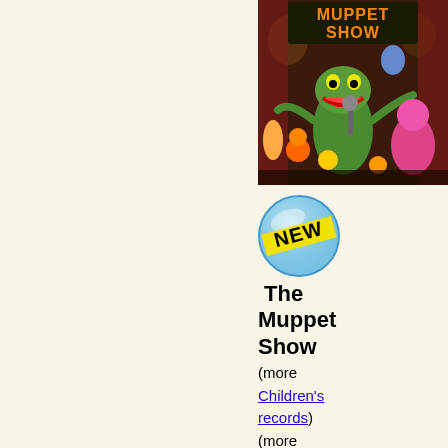[Figure (photo): Album cover for The Muppet Show featuring Kermit the Frog and other Muppet characters on a colorful, crowded stage backdrop with the title 'Muppet Show' visible at the top in orange letters.]
[Figure (logo): A circular 'NEW' badge/sticker with blue and yellow background and bold black text 'NEW' on a diagonal banner.]
The Muppet Show
(more Children's records) (more Collectibles)
Jim Henson & The Muppets